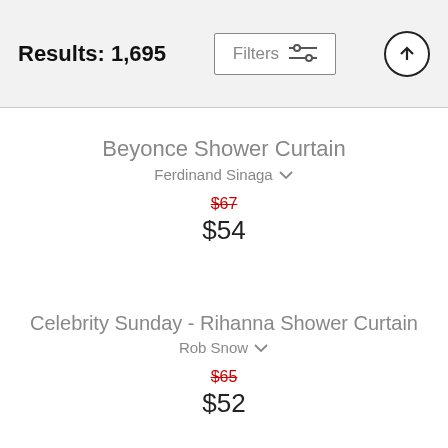Results: 1,695
Beyonce Shower Curtain | Ferdinand Sinaga | $67 (strikethrough) | $54
Celebrity Sunday - Rihanna Shower Curtain | Rob Snow | $65 (strikethrough) | $52